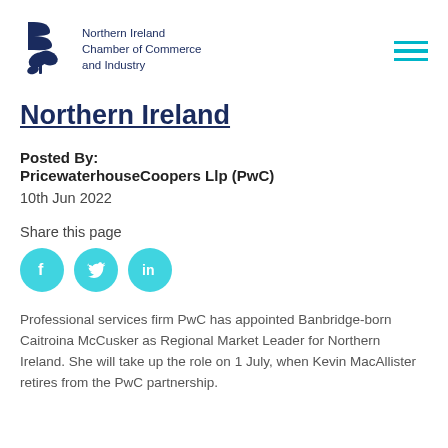Northern Ireland Chamber of Commerce and Industry
Northern Ireland
Posted By:
PricewaterhouseCoopers Llp (PwC)
10th Jun 2022
Share this page
[Figure (infographic): Three circular social media icon buttons in teal/cyan: Facebook (f), Twitter (bird), LinkedIn (in)]
Professional services firm PwC has appointed Banbridge-born Caitroina McCusker as Regional Market Leader for Northern Ireland. She will take up the role on 1 July, when Kevin MacAllister retires from the PwC partnership.